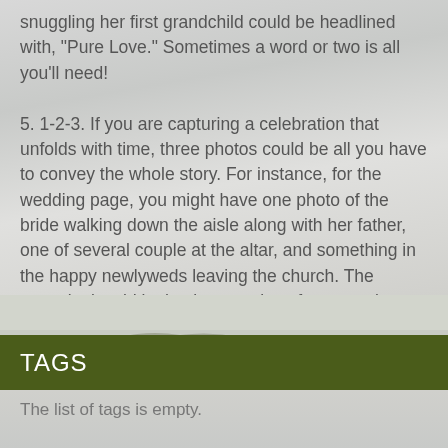snuggling her first grandchild could be headlined with, "Pure Love." Sometimes a word or two is all you'll need!
5. 1-2-3. If you are capturing a celebration that unfolds with time, three photos could be all you have to convey the whole story. For instance, for the wedding page, you might have one photo of the bride walking down the aisle along with her father, one of several couple at the altar, and something in the happy newlyweds leaving the church. The storyplot is told by having a series of progressive photos on your scrapbook page.
[Figure (illustration): Landscape photo showing rolling green hills under a cloudy sky]
TAGS
The list of tags is empty.